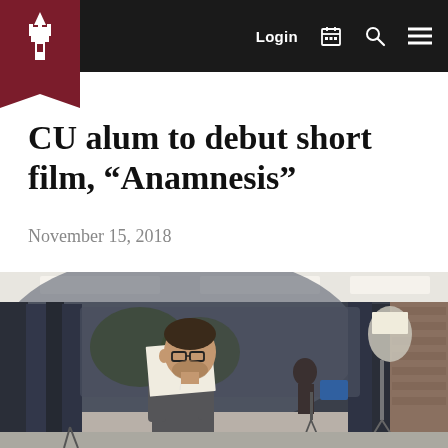Login [calendar icon] [search icon] [menu icon]
CU alum to debut short film, “Anamnesis”
November 15, 2018
[Figure (photo): A young man with glasses holding a white paper up near his face in a large room with dark curtain dividers along curved windows and studio lighting equipment visible in the background, with another person visible in the background.]